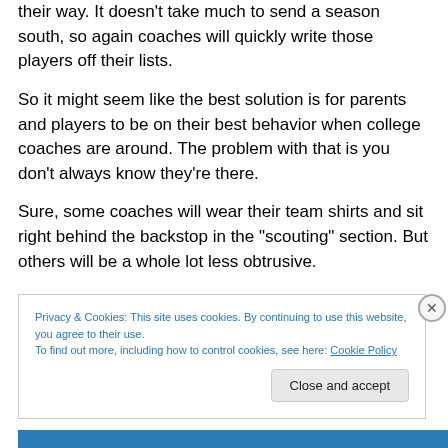their way. It doesn't take much to send a season south, so again coaches will quickly write those players off their lists.
So it might seem like the best solution is for parents and players to be on their best behavior when college coaches are around. The problem with that is you don't always know they're there.
Sure, some coaches will wear their team shirts and sit right behind the backstop in the “scouting” section. But others will be a whole lot less obtrusive.
Privacy & Cookies: This site uses cookies. By continuing to use this website, you agree to their use.
To find out more, including how to control cookies, see here: Cookie Policy
Close and accept